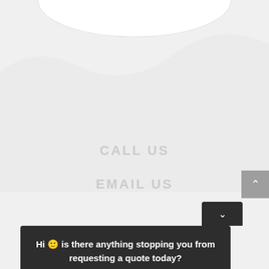[Figure (illustration): Partial oval/ellipse shape visible at top of page, white with light border]
[Figure (illustration): Large curved wave/blob background shape in light gray filling upper-middle area of page]
CALL US
EMAIL US
[Figure (other): Gray scroll-to-top button with upward chevron arrow on the right edge]
[Figure (other): Dark chat widget toggle button with downward chevron]
Hi 🙂 is there anything stopping you from requesting a quote today?
Reply